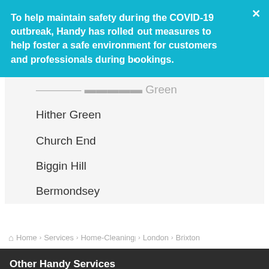To help maintain safety during the COVID-19 outbreak, Handy has rolled out measures to help foster a safe environment for customers and professionals during bookings.
[partially visible] Green
Hither Green
Church End
Biggin Hill
Bermondsey
Home > Services > Home-Cleaning > London > Brixton
Other Handy Services
cleaning
cleaning service in new york city